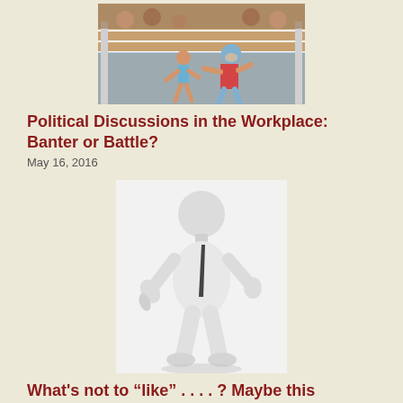[Figure (photo): Two wrestlers in a boxing ring, one wearing a blue mask and red shorts, the other shirtless in blue shorts.]
Political Discussions in the Workplace: Banter or Battle?
May 16, 2016
[Figure (illustration): A 3D white figurine giving a thumbs down, wearing a dark tie.]
What's not to “like” . . . . ? Maybe this Second Circuit decision.
November 1, 2015